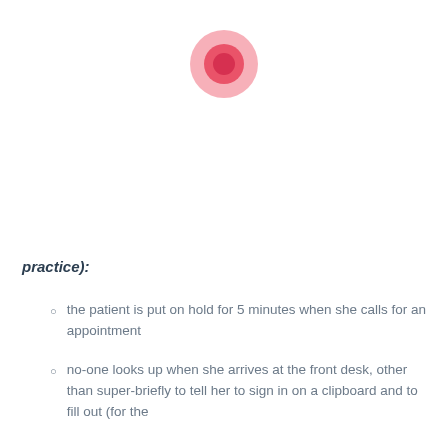[Figure (logo): Pink circular logo with concentric circles — outer circle is light pink/rose, inner circle is darker pink/red]
practice):
the patient is put on hold for 5 minutes when she calls for an appointment
no-one looks up when she arrives at the front desk, other than super-briefly to tell her to sign in on a clipboard and to fill out (for the